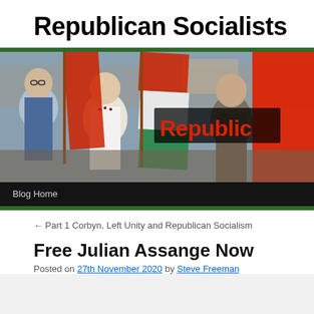Republican Socialists
[Figure (photo): Banner photo showing protest march with people carrying red flags, with 'Republic' text overlay in red on dark background, and a 'Blog Home' navigation bar at the bottom]
← Part 1 Corbyn, Left Unity and Republican Socialism
Free Julian Assange Now
Posted on 27th November 2020 by Steve Freeman